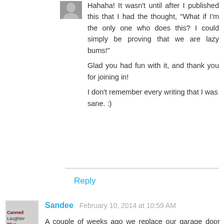[Figure (photo): Small avatar image of a person]
Hahaha! It wasn't until after I published this that I had the thought, "What if I'm the only one who does this? I could simply be proving that we are lazy bums!"
Glad you had fun with it, and thank you for joining in!
I don't remember every writing that I was sane. :)
Reply
[Figure (photo): Avatar image for Sandee - a stylized graphic with text]
Sandee  February 10, 2014 at 10:59 AM
A couple of weeks ago we replace our garage door and this week we'll be replacing our fence. So we do projects as they come along. Expensive but necessary, and yes it can be a pain in the neck.
Have a fabulous day. ☺
Reply
Replies